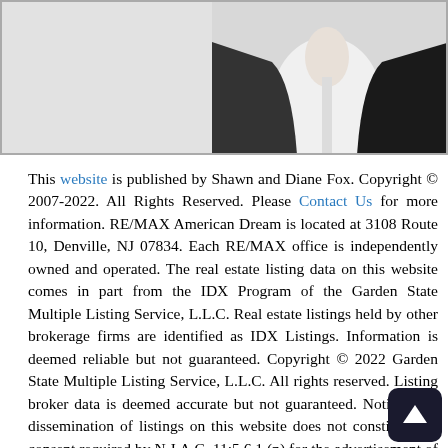[Figure (photo): Partial photo showing a person in white shirt and dark jacket, cropped at top of page]
This website is published by Shawn and Diane Fox. Copyright © 2007-2022. All Rights Reserved. Please Contact Us for more information. RE/MAX American Dream is located at 3108 Route 10, Denville, NJ 07834. Each RE/MAX office is independently owned and operated. The real estate listing data on this website comes in part from the IDX Program of the Garden State Multiple Listing Service, L.L.C. Real estate listings held by other brokerage firms are identified as IDX Listings. Information is deemed reliable but not guaranteed. Copyright © 2022 Garden State Multiple Listing Service, L.L.C. All rights reserved. Listing broker data is deemed accurate but not guaranteed. Notice: The dissemination of listings on this website does not constitute the consent required by N.J.A.C. 11:5.6.1 (n) for the advertisement of listings exclusively for sale by another broker. Any such consent must be obtained in writing from the listing broker. This information is provided for Consumers' personal, non-commercial use and may not be used for any purpose other than to identify prospective